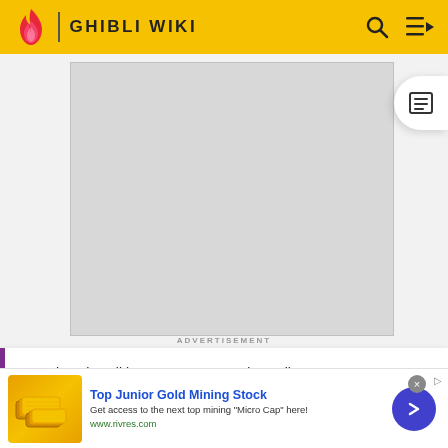GHIBLI WIKI
[Figure (other): Advertisement placeholder image (gray rectangle)]
ADVERTISEMENT
Warning: the wiki content may contain spoilers!
[Figure (other): Bottom advertisement for Top Junior Gold Mining Stock from www.rivres.com]